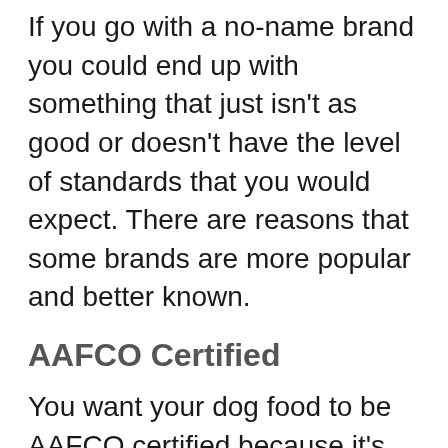If you go with a no-name brand you could end up with something that just isn't as good or doesn't have the level of standards that you would expect. There are reasons that some brands are more popular and better known.
AAFCO Certified
You want your dog food to be AAFCO certified because it's going to show that these foods are good quality and that they've been tested as a dog food brand. That lets you know more about how safe they'll be as well.